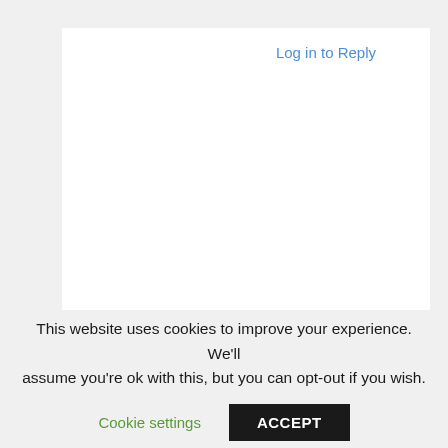Log in to Reply
This website uses cookies to improve your experience. We'll assume you're ok with this, but you can opt-out if you wish.
Cookie settings
ACCEPT